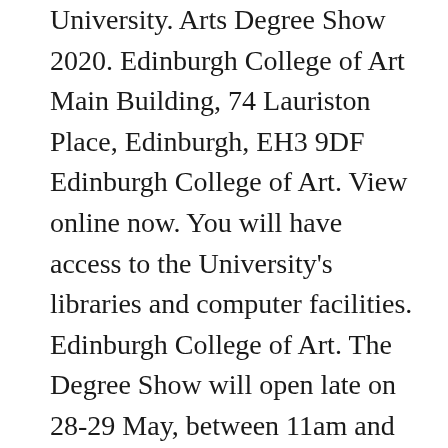University. Arts Degree Show 2020. Edinburgh College of Art Main Building, 74 Lauriston Place, Edinburgh, EH3 9DF Edinburgh College of Art. View online now. You will have access to the University's libraries and computer facilities. Edinburgh College of Art. The Degree Show will open late on 28-29 May, between 11am and 8pm. For more info visit Edinburgh College of ART Degree Show 2018 website. Sunday 1 June 2014, 5.00pm. 15 tys. Edinburgh College of Art. About This year, we'll be featuring the work of students from Art, Design, ESALA (Edinburgh School of Architecture and Landscape Architecture). 6th Edition. The degree shows at Edinburgh College of Art and Glasgow School of Art